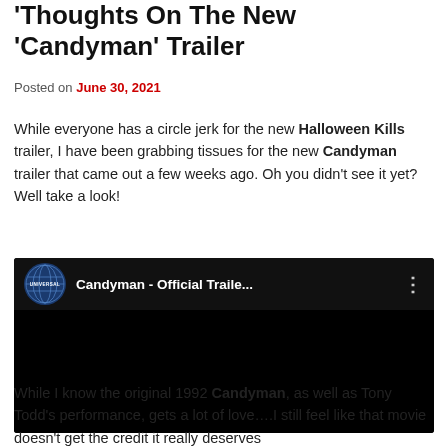Thoughts On The New 'Candyman' Trailer
Posted on June 30, 2021
While everyone has a circle jerk for the new Halloween Kills trailer, I have been grabbing tissues for the new Candyman trailer that came out a few weeks ago. Oh you didn't see it yet? Well take a look!
[Figure (screenshot): Embedded YouTube video player showing Candyman - Official Trailer with Universal Pictures logo, black video area]
While I know the original 1992 Candyman, as well as Tony Todd's performance, gets a lot of love….I still feel like that movie doesn't get the credit it really deserves